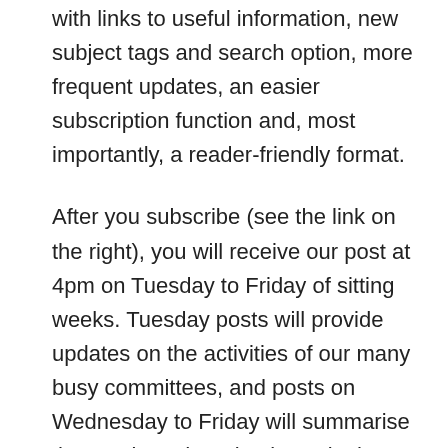with links to useful information, new subject tags and search option, more frequent updates, an easier subscription function and, most importantly, a reader-friendly format.
After you subscribe (see the link on the right), you will receive our post at 4pm on Tuesday to Friday of sitting weeks. Tuesday posts will provide updates on the activities of our many busy committees, and posts on Wednesday to Friday will summarise the previous day's business in the House. During 2018 I will also continue to send a weekly summary email to our original subscription list on Friday afternoons to cater to readers who